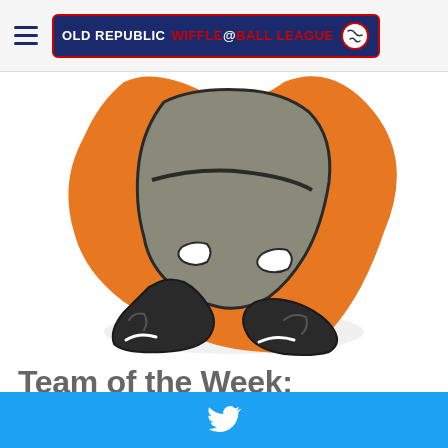OLD REPUBLIC WIFFLE@BALL LEAGUE
[Figure (illustration): Partial mascot illustration showing legs and boots of a running figure with orange outline, gray pants, and dark boots — Cleveland Browns-style Brownie mascot]
Team of the Week: Olive Township Mechanics
[Figure (logo): Twitter share button — light blue rectangular banner with white Twitter bird icon]